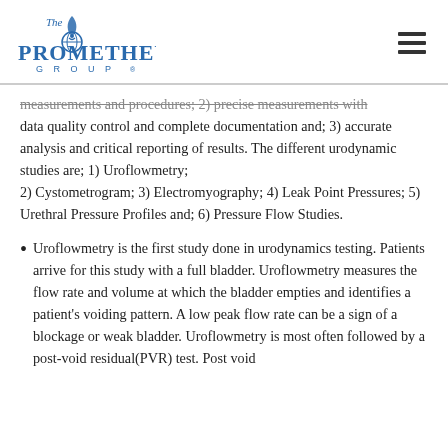[Figure (logo): The Prometheus Group logo with flame and globe icon, blue text]
measurements and procedures; 2) precise measurements with data quality control and complete documentation and; 3) accurate analysis and critical reporting of results. The different urodynamic studies are; 1) Uroflowmetry; 2) Cystometrogram; 3) Electromyography; 4) Leak Point Pressures; 5) Urethral Pressure Profiles and; 6) Pressure Flow Studies.
Uroflowmetry is the first study done in urodynamics testing. Patients arrive for this study with a full bladder. Uroflowmetry measures the flow rate and volume at which the bladder empties and identifies a patient's voiding pattern. A low peak flow rate can be a sign of a blockage or weak bladder. Uroflowmetry is most often followed by a post-void residual(PVR) test. Post void